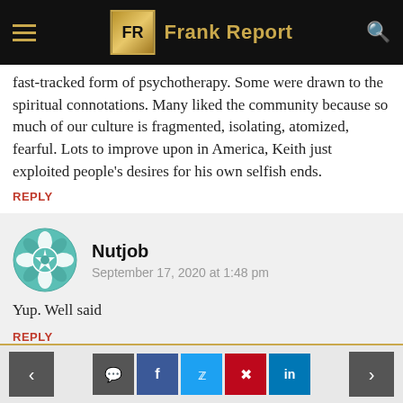Frank Report
fast-tracked form of psychotherapy. Some were drawn to the spiritual connotations. Many liked the community because so much of our culture is fragmented, isolating, atomized, fearful. Lots to improve upon in America, Keith just exploited people's desires for his own selfish ends.
REPLY
[Figure (illustration): Teal decorative avatar icon with geometric floral/star pattern]
Nutjob
September 17, 2020 at 1:48 pm
Yup. Well said
REPLY
Navigation and social share buttons: prev, comment, facebook, twitter, pinterest, linkedin, next